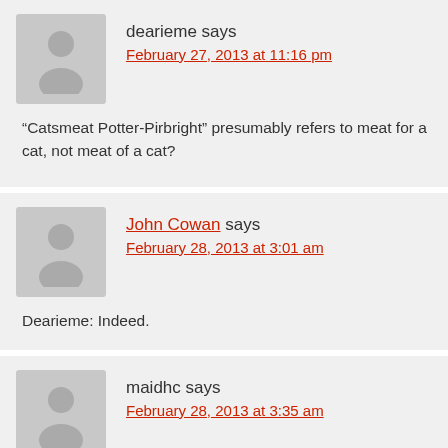dearieme says
February 27, 2013 at 11:16 pm
“Catsmeat Potter-Pirbright” presumably refers to meat for a cat, not meat of a cat?
John Cowan says
February 28, 2013 at 3:01 am
Dearieme: Indeed.
maidhc says
February 28, 2013 at 3:35 am